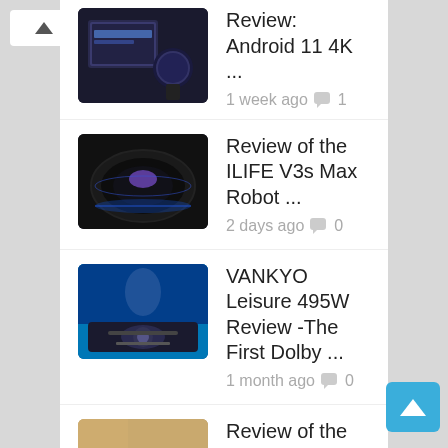[Figure (screenshot): Screenshot of a blog/review website showing a list of product review articles with thumbnails, titles, timestamps, and comment counts.]
Review: Android 11 4K ... 1 week ago  1
Review of the ILIFE V3s Max Robot ... 2 days ago  0
VANKYO Leisure 495W Review -The First Dolby ... 1 month ago  0
Review of the SANYIPACE F929DJTX Sewer Inspection ... 1 month ago  0